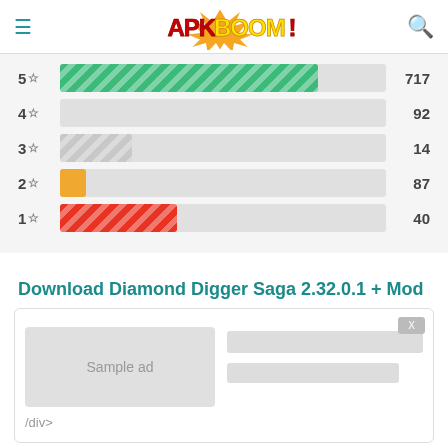[Figure (logo): APKBOOM! logo with explosion graphic, red and yellow stylized text]
[Figure (bar-chart): Star rating distribution]
Download Diamond Digger Saga 2.32.0.1 + Mod
[Figure (screenshot): Download box with sample ad placeholder and gray content bars, /div> text visible]
Diamond Digger Saga APK